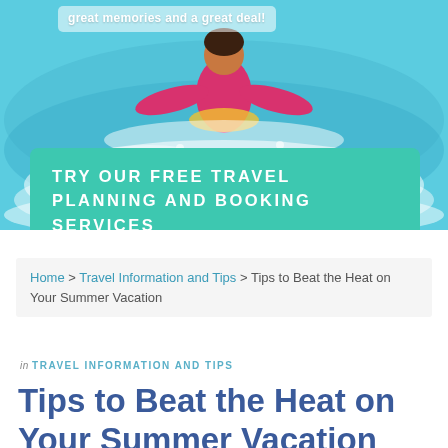[Figure (photo): Hero image of a person playing/splashing in ocean water, with teal/turquoise water and a pink-clad figure visible. A white semi-transparent text box at top reads 'great memories and a great deal!']
TRY OUR FREE TRAVEL PLANNING AND BOOKING SERVICES
Home > Travel Information and Tips > Tips to Beat the Heat on Your Summer Vacation
in TRAVEL INFORMATION AND TIPS
Tips to Beat the Heat on Your Summer Vacation